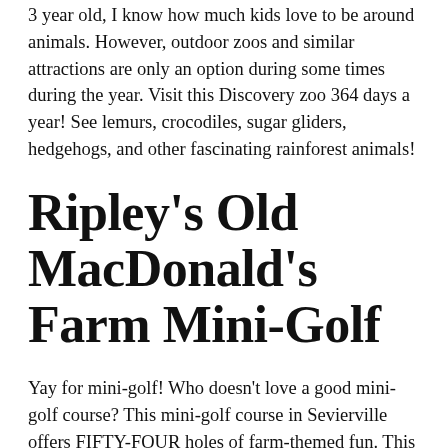3 year old, I know how much kids love to be around animals. However, outdoor zoos and similar attractions are only an option during some times during the year. Visit this Discovery zoo 364 days a year! See lemurs, crocodiles, sugar gliders, hedgehogs, and other fascinating rainforest animals!
Ripley's Old MacDonald's Farm Mini-Golf
Yay for mini-golf! Who doesn't love a good mini-golf course? This mini-golf course in Sevierville offers FIFTY-FOUR holes of farm-themed fun. This mini-